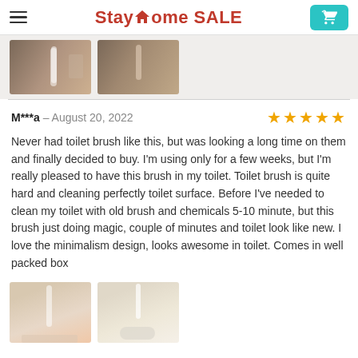StayHome SALE
[Figure (photo): Two product photos showing a toilet brush, partially cropped at top]
M***a – August 20, 2022  ★★★★★

Never had toilet brush like this, but was looking a long time on them and finally decided to buy. I'm using only for a few weeks, but I'm really pleased to have this brush in my toilet. Toilet brush is quite hard and cleaning perfectly toilet surface. Before I've needed to clean my toilet with old brush and chemicals 5-10 minute, but this brush just doing magic, couple of minutes and toilet look like new. I love the minimalism design, looks awesome in toilet. Comes in well packed box
[Figure (photo): Two product photos showing a toilet brush, partially cropped at bottom]